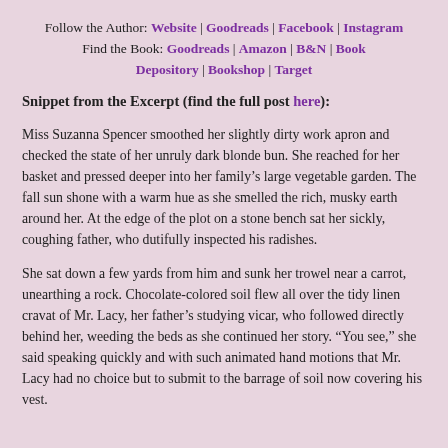Follow the Author: Website | Goodreads | Facebook | Instagram
Find the Book: Goodreads | Amazon | B&N | Book Depository | Bookshop | Target
Snippet from the Excerpt (find the full post here):
Miss Suzanna Spencer smoothed her slightly dirty work apron and checked the state of her unruly dark blonde bun. She reached for her basket and pressed deeper into her family’s large vegetable garden. The fall sun shone with a warm hue as she smelled the rich, musky earth around her. At the edge of the plot on a stone bench sat her sickly, coughing father, who dutifully inspected his radishes.
She sat down a few yards from him and sunk her trowel near a carrot, unearthing a rock. Chocolate-colored soil flew all over the tidy linen cravat of Mr. Lacy, her father’s studying vicar, who followed directly behind her, weeding the beds as she continued her story. “You see,” she said speaking quickly and with such animated hand motions that Mr. Lacy had no choice but to submit to the barrage of soil now covering his vest.